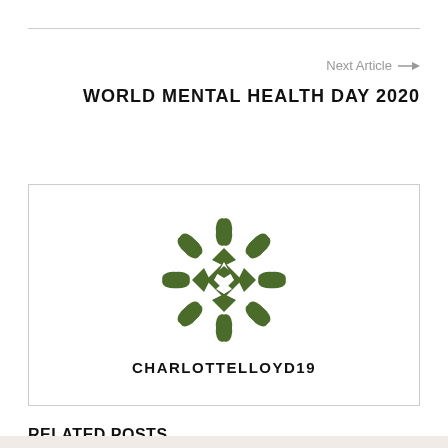Next Article →
WORLD MENTAL HEALTH DAY 2020
[Figure (logo): Circular ornamental logo with green leaf/wreath design surrounding a diamond/quilt pattern in the center, green color]
CHARLOTTELLOYD19
RELATED POSTS